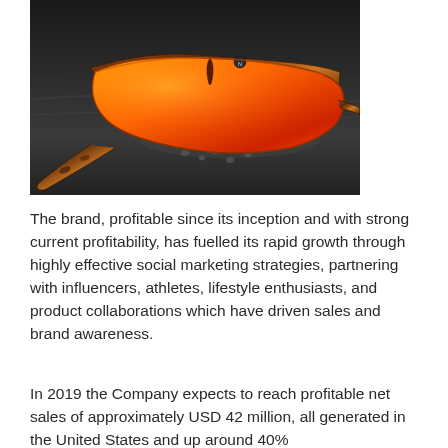[Figure (photo): A pair of sporty sunglasses with orange/red mirrored shield lenses and tortoiseshell brown frame, resting on a dark weathered rock surface.]
The brand, profitable since its inception and with strong current profitability, has fuelled its rapid growth through highly effective social marketing strategies, partnering with influencers, athletes, lifestyle enthusiasts, and product collaborations which have driven sales and brand awareness.
In 2019 the Company expects to reach profitable net sales of approximately USD 42 million, all generated in the United States and up around 40%